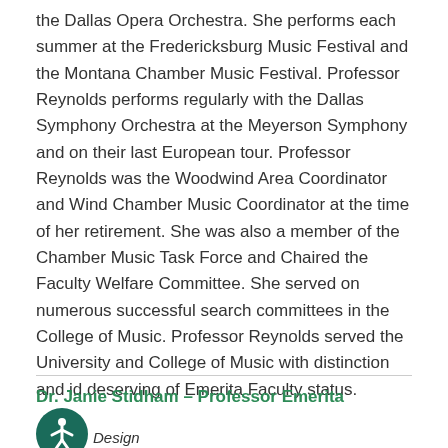the Dallas Opera Orchestra. She performs each summer at the Fredericksburg Music Festival and the Montana Chamber Music Festival. Professor Reynolds performs regularly with the Dallas Symphony Orchestra at the Meyerson Symphony and on their last European tour. Professor Reynolds was the Woodwind Area Coordinator and Wind Chamber Music Coordinator at the time of her retirement. She was also a member of the Chamber Music Task Force and Chaired the Faculty Welfare Committee. She served on numerous successful search committees in the College of Music. Professor Reynolds served the University and College of Music with distinction and id deserving of Emerita Faculty status.
Dr. Janie Stidham – Professor Emerita
[Figure (other): Accessibility icon — circular dark teal button with a stick figure person symbol in white]
Design